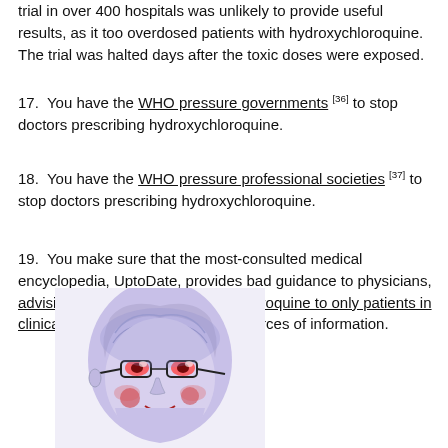trial in over 400 hospitals was unlikely to provide useful results, as it too overdosed patients with hydroxychloroquine. The trial was halted days after the toxic doses were exposed.
17. You have the WHO pressure governments [36] to stop doctors prescribing hydroxychloroquine.
18. You have the WHO pressure professional societies [37] to stop doctors prescribing hydroxychloroquine.
19. You make sure that the most-consulted medical encyclopedia, UptoDate, provides bad guidance to physicians, advising them to restrict hydroxychloroquine to only patients in clinical trials [38], citing the above sources of information.
[Figure (illustration): Stylized colorized portrait illustration of an elderly person with glasses, rendered in blue, red, and white tones.]